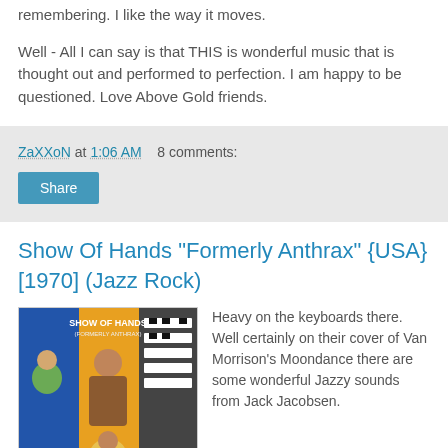remembering. I like the way it moves.
Well - All I can say is that THIS is wonderful music that is thought out and performed to perfection. I am happy to be questioned. Love Above Gold friends.
ZaXXoN at 1:06 AM   8 comments:
Share
Show Of Hands "Formerly Anthrax" {USA} [1970] (Jazz Rock)
[Figure (illustration): Album cover for Show Of Hands 'Formerly Anthrax' showing illustrated figures with keyboards, on orange and blue background]
Heavy on the keyboards there. Well certainly on their cover of Van Morrison's Moondance there are some wonderful Jazzy sounds from Jack Jacobsen.